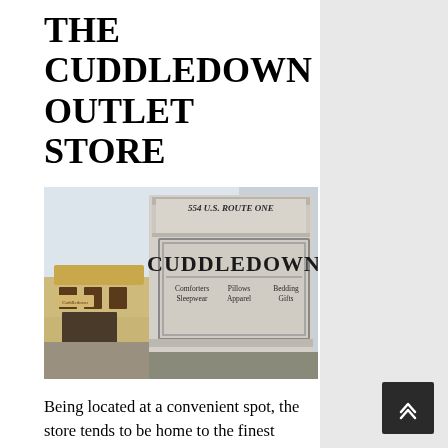THE CUDDLEDOWN OUTLET STORE
[Figure (photo): Photo of a Cuddledown store sign reading '554 U.S. Route One, Cuddledown, Comforters Sleepwear, Pillows Apparel, Bedding Gifts' with the store building visible in the background.]
Being located at a convenient spot, the store tends to be home to the finest Cuddledown products that you could look at and choose from. It has stocked a wide variety of home furnishing products that include sheets, sleepwear,